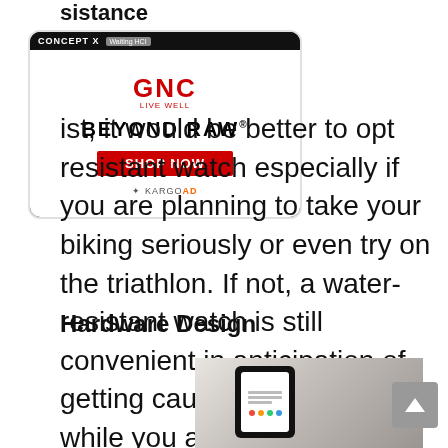sistance
[Figure (advertisement): GNC Beyond Raw advertisement with SHOP NOW button and KARGO AD label]
ist, it would be better to opt resistant watch especially if you are planning to take your biking seriously or even try on the triathlon. If not, a water-resistant watch is still convenient in anticipation of getting caught in the rain while you are on the trail.
Hardware Design
[Figure (photo): Person holding a smartphone with colorful app icons, notebook and items in background]